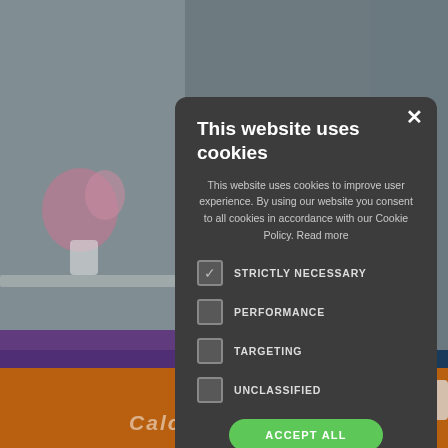[Figure (screenshot): Blurred background of a room/office scene with flowers, furniture, navy and orange bands at bottom, purple carpet, and Calculate Quote text overlay]
This website uses cookies
This website uses cookies to improve user experience. By using our website you consent to all cookies in accordance with our Cookie Policy. Read more
STRICTLY NECESSARY (checked)
PERFORMANCE
TARGETING
UNCLASSIFIED
ACCEPT ALL